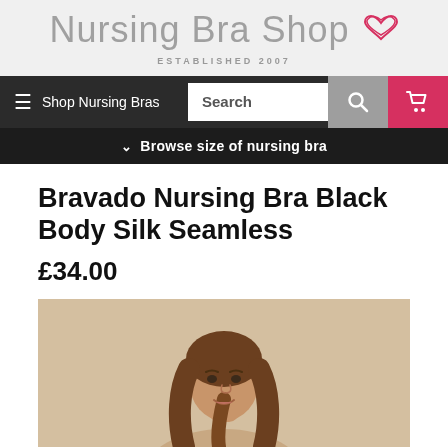Nursing Bra Shop — ESTABLISHED 2007
Shop Nursing Bras | Search | [search icon] [cart icon]
Browse size of nursing bra
Bravado Nursing Bra Black Body Silk Seamless
£34.00
[Figure (photo): A smiling young woman with long brown hair against a beige/tan background, serving as a product model photo for the nursing bra.]